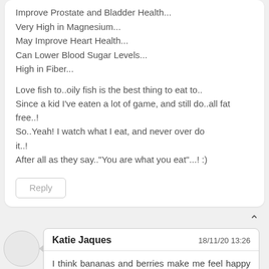Improve Prostate and Bladder Health...
Very High in Magnesium...
May Improve Heart Health...
Can Lower Blood Sugar Levels...
High in Fiber...

Love fish to..oily fish is the best thing to eat to..
Since a kid I've eaten a lot of game, and still do..all fat free..!
So..Yeah! I watch what I eat, and never over do it..!
After all as they say.."You are what you eat"...! :)
Katie Jaques
18/11/20 13:26
I think bananas and berries make me feel happy knowing that I've eaten something